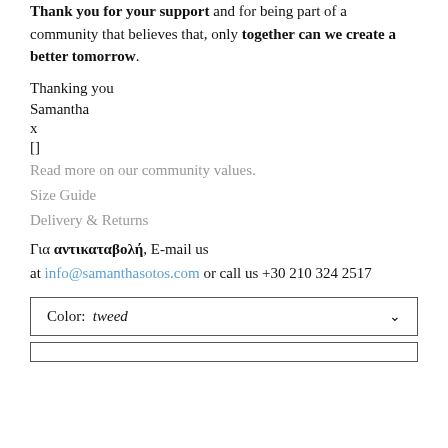Thank you for your support and for being part of a community that believes that, only together can we create a better tomorrow.
Thanking you
Samantha
x
[]
Read more on our community values.
Size Guide
Delivery & Returns
Για αντικαταβολή, E-mail us at info@samanthasotos.com or call us +30 210 324 2517
Color: tweed